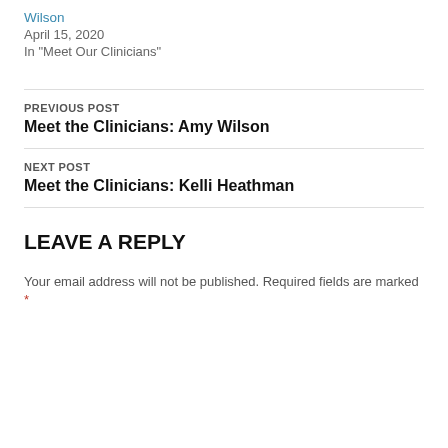Wilson
April 15, 2020
In "Meet Our Clinicians"
PREVIOUS POST
Meet the Clinicians: Amy Wilson
NEXT POST
Meet the Clinicians: Kelli Heathman
LEAVE A REPLY
Your email address will not be published. Required fields are marked *